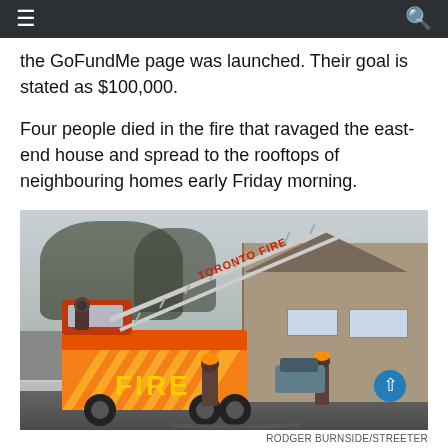Navigation bar with hamburger menu and search icon
the GoFundMe page was launched. Their goal is stated as $100,000.
Four people died in the fire that ravaged the east-end house and spread to the rooftops of neighbouring homes early Friday morning.
[Figure (photo): Firefighters with a Toronto Fire ladder truck extended toward house damaged by fire. A fire truck with yellow and red chevrons and 'FIRE' lettering is visible. Firefighters stand near the truck. Snow is visible on the ground. Residential homes can be seen in background.]
RODGER BURNSIDE/STREETER
AFTERMATH: Firefighters watch over site of fire that killed four on